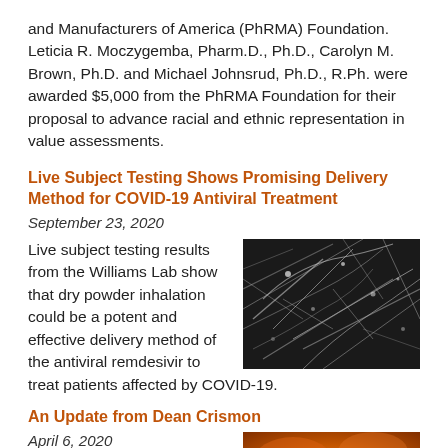and Manufacturers of America (PhRMA) Foundation. Leticia R. Moczygemba, Pharm.D., Ph.D., Carolyn M. Brown, Ph.D. and Michael Johnsrud, Ph.D., R.Ph. were awarded $5,000 from the PhRMA Foundation for their proposal to advance racial and ethnic representation in value assessments.
Live Subject Testing Shows Promising Delivery Method for COVID-19 Antiviral Treatment
September 23, 2020
Live subject testing results from the Williams Lab show that dry powder inhalation could be a potent and effective delivery method of the antiviral remdesivir to treat patients affected by COVID-19.
[Figure (photo): Microscope image of dry powder particles, grayscale, showing fibrous/web-like structure]
An Update from Dean Crismon
April 6, 2020
[Figure (photo): Close-up image with orange/amber tones, partially visible at bottom of page]